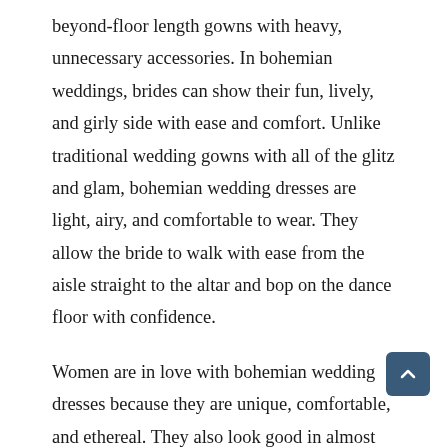beyond-floor length gowns with heavy, unnecessary accessories. In bohemian weddings, brides can show their fun, lively, and girly side with ease and comfort. Unlike traditional wedding gowns with all of the glitz and glam, bohemian wedding dresses are light, airy, and comfortable to wear. They allow the bride to walk with ease from the aisle straight to the altar and bop on the dance floor with confidence.
Women are in love with bohemian wedding dresses because they are unique, comfortable, and ethereal. They also look good in almost any wedding theme, whether it’s a beach wedding or a wedding ceremony in the forest. With a bohemian wedding dress, you can achieve a hippy, flirty, or vintage look while remaining